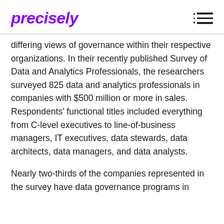precisely
differing views of governance within their respective organizations. In their recently published Survey of Data and Analytics Professionals, the researchers surveyed 825 data and analytics professionals in companies with $500 million or more in sales. Respondents' functional titles included everything from C-level executives to line-of-business managers, IT executives, data stewards, data architects, data managers, and data analysts.
Nearly two-thirds of the companies represented in the survey have data governance programs in